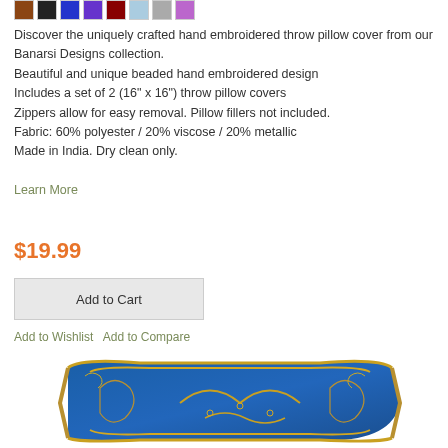[Figure (other): Row of color swatches: brown, black, blue, purple, dark red, light blue, gray, light purple/pink]
Discover the uniquely crafted hand embroidered throw pillow cover from our Banarsi Designs collection.
Beautiful and unique beaded hand embroidered design
Includes a set of 2 (16" x 16") throw pillow covers
Zippers allow for easy removal. Pillow fillers not included.
Fabric: 60% polyester / 20% viscose / 20% metallic
Made in India. Dry clean only.
Learn More
$19.99
Add to Cart
Add to Wishlist   Add to Compare
[Figure (photo): Decorative embroidered throw pillow with blue and gold paisley design, partially cropped at bottom of page]